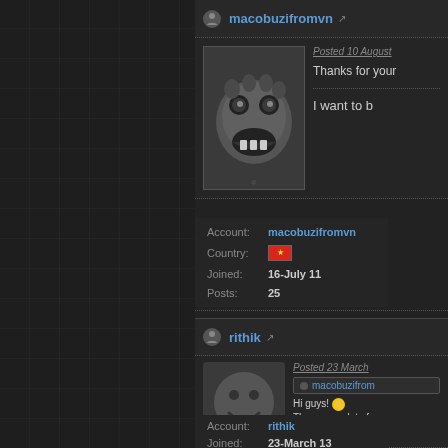[Figure (screenshot): Forum screenshot showing two user posts. Left panel has dark grid background. Right panel shows post by 'macobuzifromvn' with avatar image, account info, country flag (Vietnam), joined date 16-July 11, posts 25. Below is a post by 'rithik' with smiley avatar, account info, joined 23-March 13, with a quoted reply and text about 'Hi guys!' and message about people giving help.]
macobuzifromvn
Posted 10 August
Thanks for your
I want to b
Account: macobuzifromvn
Country:
Joined: 16-July 11
Posts: 25
rithik
Posted 23 March
macobuzifrom
Hi guys!
There are a lot of hell). It's make me somebody 'll give
Account: rithik
Joined: 23-March 13